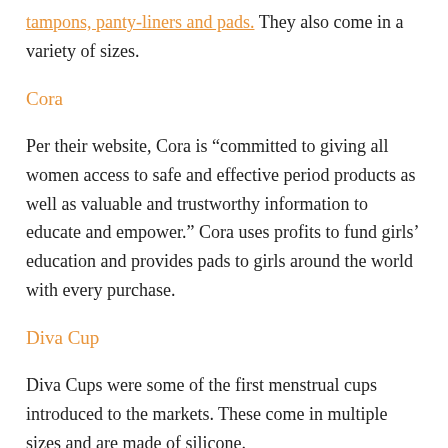tampons, panty-liners and pads. They also come in a variety of sizes.
Cora
Per their website, Cora is “committed to giving all women access to safe and effective period products as well as valuable and trustworthy information to educate and empower.” Cora uses profits to fund girls’ education and provides pads to girls around the world with every purchase.
Diva Cup
Diva Cups were some of the first menstrual cups introduced to the markets. These come in multiple sizes and are made of silicone.